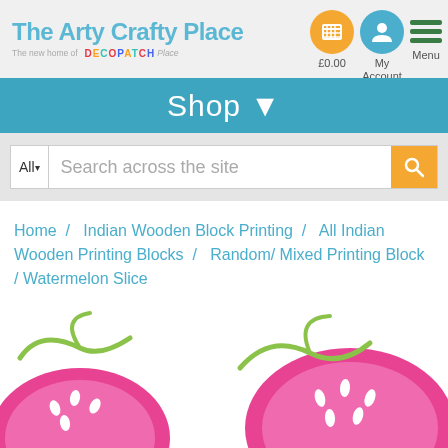[Figure (logo): The Arty Crafty Place logo with teal cursive text and Decopatch Place sub-logo]
[Figure (infographic): Navigation icons: orange basket with £0.00, blue person icon with My Account, green hamburger menu with Menu]
Shop ▼
All▾  Search across the site
Home / Indian Wooden Block Printing / All Indian Wooden Printing Blocks / Random/ Mixed Printing Block / Watermelon Slice
[Figure (photo): Watermelon slice printed block art — pink and green watermelon slice illustrations on white background]